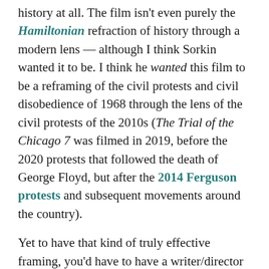history at all. The film isn't even purely the Hamiltonian refraction of history through a modern lens — although I think Sorkin wanted it to be. I think he wanted this film to be a reframing of the civil protests and civil disobedience of 1968 through the lens of the civil protests of the 2010s (The Trial of the Chicago 7 was filmed in 2019, before the 2020 protests that followed the death of George Floyd, but after the 2014 Ferguson protests and subsequent movements around the country).
Yet to have that kind of truly effective framing, you'd have to have a writer/director less self-aggrandizing, less front-and-center, less sure of yourself and your absolutist version of the narrative than Sorkin. Sorkinese as a worldview is basically a precursor to the flattening of nuanced political arguments into a series of simplistic bullet points along the machine...